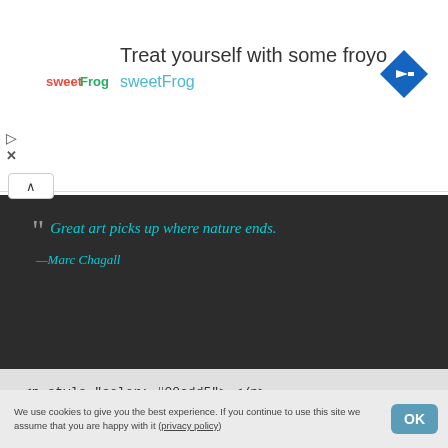[Figure (screenshot): Advertisement banner for sweetFrog frozen yogurt with logo, navigation icon, and ad controls]
[Figure (screenshot): Dark background quote block showing 'Great art picks up where nature ends. —Marc Chagall' in teal italic text with collapse button and code snippet below]
#00cdd5 background
[Figure (screenshot): Teal background quote block showing 'The greater the artist, the greater the doubt. Perfect confidence is granted to the less talented as a consolation prize.']
We use cookies to give you the best experience. If you continue to use this site we assume that you are happy with it (privacy policy)